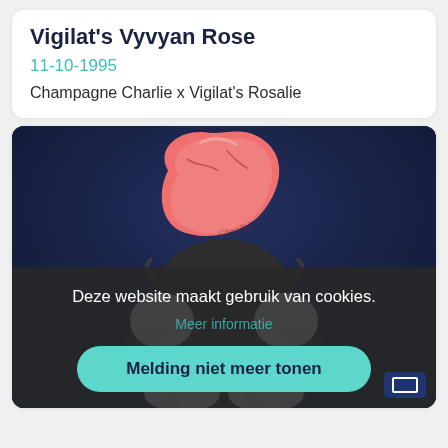Vigilat's Vyvyan Rose
11-10-1995
Champagne Charlie x Vigilat's Rosalie
[Figure (illustration): Cartoon illustration of a dog character holding a pink/red object (rose?), sitting against a dark navy blue background. Character appears to have white paws and dark fluffy fur. Watermark text 'ChanTell' visible on the pink object.]
Deze website maakt gebruik van cookies.
Meer informatie
Melding niet meer tonen